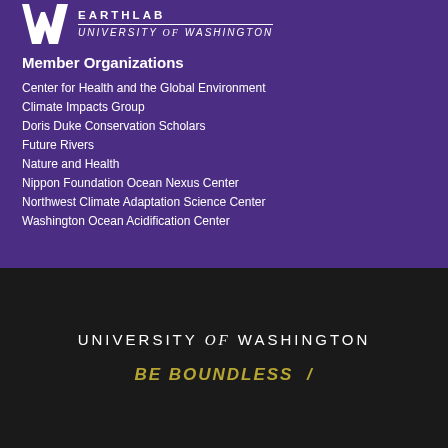[Figure (logo): UW EarthLab logo with W mark and text 'EARTHLAB UNIVERSITY of WASHINGTON']
Member Organizations
Center for Health and the Global Environment
Climate Impacts Group
Doris Duke Conservation Scholars
Future Rivers
Nature and Health
Nippon Foundation Ocean Nexus Center
Northwest Climate Adaptation Science Center
Washington Ocean Acidification Center
[Figure (logo): University of Washington logo on dark background with 'BE BOUNDLESS' tagline]